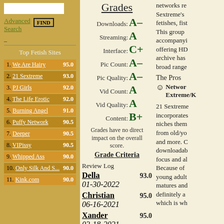Advanced Search
Top Fetish Sites
1. We Are Hairy 95.0
2. 21 Sextreme 93.0
3. PJ Girls 92.0
4. The Life Erotic 92.0
5. Burning Angel 91.0
6. Puffy Network 90.5
7. Deeper 90.5
8. VIPissy 90.5
9. Whipped Ass 90.0
10. Only Silk And S... 90.0
11. Kink.com 90.0
Grades
Downloads: A-
Streaming: A
Interface: C+
Pic Count: A-
Pic Quality: A-
Vid Count: A
Vid Quality: A
Content: B+
Grades have no direct impact on the overall score.
Grade Criteria
Review Log
Della 01-30-2022 93.0
Christian 06-16-2021 95.0
Xander 02-18-2021 95.0
Satine
networks re... Sextreme's... fetishes, fist... This group... accompanyi... offering HD... archive has... broad range...
The Pros
Network Extreme/K...
21 Sextreme... incorporates... niches them... from old/yo... and more. C... downloadab... focus and al... Because of... young adult... matures and... definitely a... which is wh...